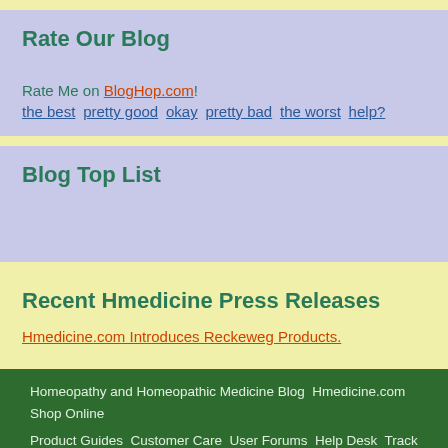Rate Our Blog
Rate Me on BlogHop.com!
the best  pretty good  okay  pretty bad  the worst  help?
Blog Top List
Recent Hmedicine Press Releases
Hmedicine.com Introduces Reckeweg Products.
Homeopathy and Homeopathic Medicine Blog  Hmedicine.com  Shop Online
Product Guides  Customer Care  User Forums  Help Desk  Track Order  Feedback
About  Homeopathic Doctors Directory  Homeopathy Links  Blog